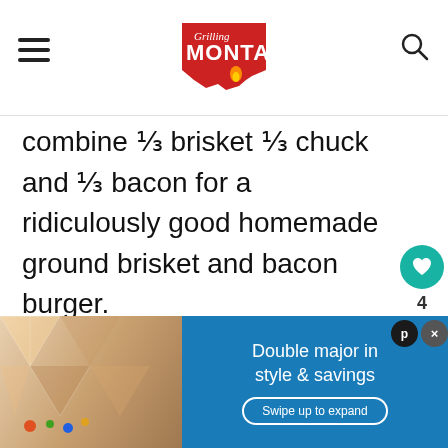Grilling Montana
combine ⅓ brisket ⅓ chuck and ⅓ bacon for a ridiculously good homemade ground brisket and bacon burger.
Enough bacon, who has dessert recipes. I'm good with
[Figure (screenshot): WHAT'S NEXT → Griddle Recipes for... widget with food thumbnail]
[Figure (screenshot): Advertisement banner: Double major in style & savings. Swipe up to expand.]